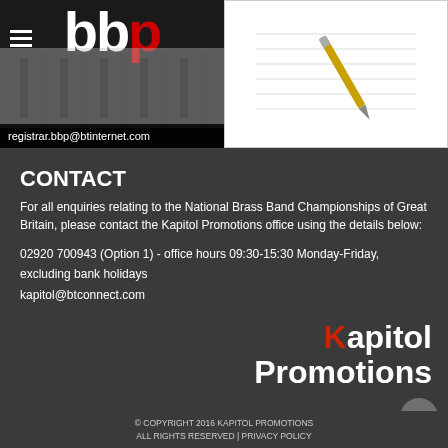[Figure (photo): BBP logo on dark circular background with brass instruments and hamburger menu icon, with email bar showing registrar.bbp@btinternet.com]
[Figure (photo): Close-up photo of a pen or pencil on sheet music/paper, white background]
CONTACT
For all enquiries relating to the National Brass Band Championships of Great Britain, please contact the Kapitol Promotions office using the details below:
02920 700943 (Option 1) - office hours 09:30-15:30 Monday-Friday, excluding bank holidays
kapitol@btconnect.com
[Figure (logo): Kapitol Promotions logo in white and red text]
© COPYRIGHT 2016 KAPITOL PROMOTIONS ALL RIGHTS RESERVED | PRIVACY POLICY